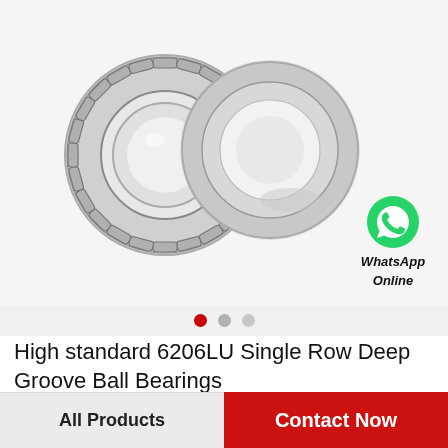[Figure (photo): Two needle roller bearings / deep groove ball bearing rings on white/light gray background — one with visible rollers and cage, one plain ring partially overlapping. WhatsApp Online icon and text overlay in bottom-right of image.]
High standard 6206LU Single Row Deep Groove Ball Bearings
All Products
Contact Now